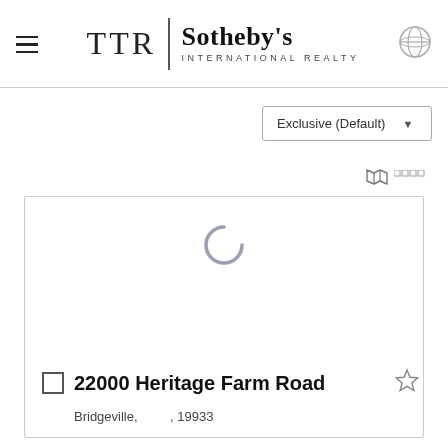[Figure (logo): TTR Sotheby's International Realty logo with hamburger menu and globe icon]
Exclusive (Default)
[Figure (other): Map icon with small squares (map view toggle)]
[Figure (other): Loading spinner (partial circle arc) inside a property card]
22000 Heritage Farm Road
Bridgeville,       , 19933